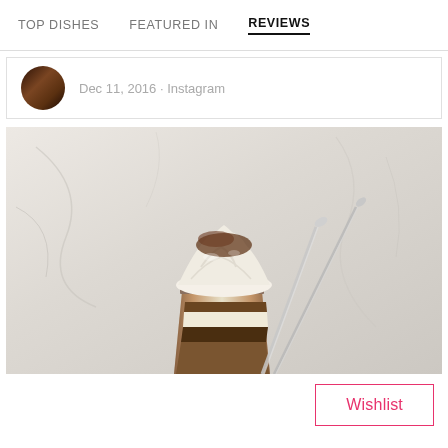TOP DISHES   FEATURED IN   REVIEWS
Dec 11, 2016 · Instagram
[Figure (photo): A layered tiramisu dessert in a clear glass cup with two metal spoons, topped with whipped cream and cocoa powder, on a marble surface.]
Wishlist